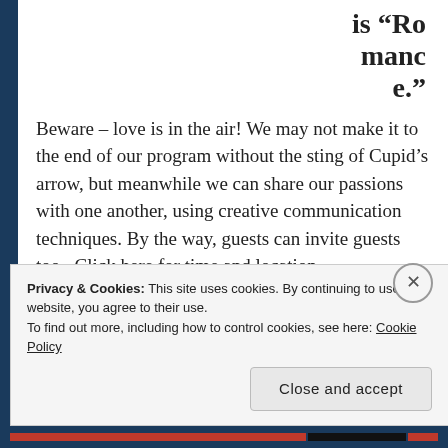is “Romance.”
Beware – love is in the air! We may not make it to the end of our program without the sting of Cupid’s arrow, but meanwhile we can share our passions with one another, using creative communication techniques. By the way, guests can invite guests too. Click here for time and location.
Privacy & Cookies: This site uses cookies. By continuing to use this website, you agree to their use.
To find out more, including how to control cookies, see here: Cookie Policy
Close and accept